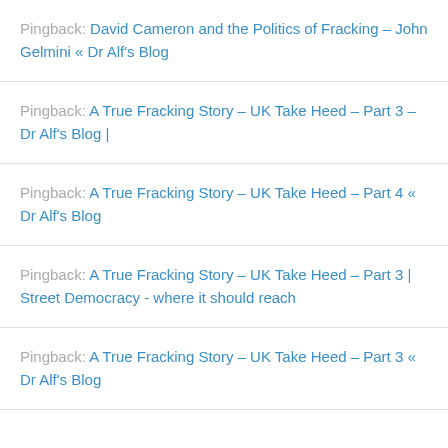Pingback: David Cameron and the Politics of Fracking – John Gelmini « Dr Alf's Blog
Pingback: A True Fracking Story – UK Take Heed – Part 3 – Dr Alf's Blog |
Pingback: A True Fracking Story – UK Take Heed – Part 4 « Dr Alf's Blog
Pingback: A True Fracking Story – UK Take Heed – Part 3 | Street Democracy - where it should reach
Pingback: A True Fracking Story – UK Take Heed – Part 3 « Dr Alf's Blog